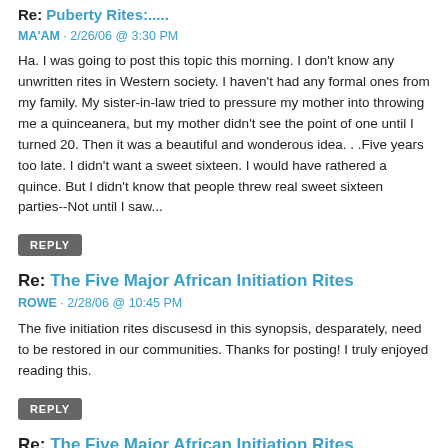Re: Puberty Rites:.....
MA'AM · 2/26/06  @  3:30 PM
Ha. I was going to post this topic this morning. I don't know any unwritten rites in Western society. I haven't had any formal ones from my family. My sister-in-law tried to pressure my mother into throwing me a quinceanera, but my mother didn't see the point of one until I turned 20. Then it was a beautiful and wonderous idea. . .Five years too late. I didn't want a sweet sixteen. I would have rathered a quince. But I didn't know that people threw real sweet sixteen parties--Not until I saw...
REPLY
Re: The Five Major African Initiation Rites
ROWE · 2/28/06  @  10:45 PM
The five initiation rites discusesd in this synopsis, desparately, need to be restored in our communities. Thanks for posting! I truly enjoyed reading this.
REPLY
Re: The Five Major African Initiation Rites
ROWE · 2/28/06  @  11:05 PM